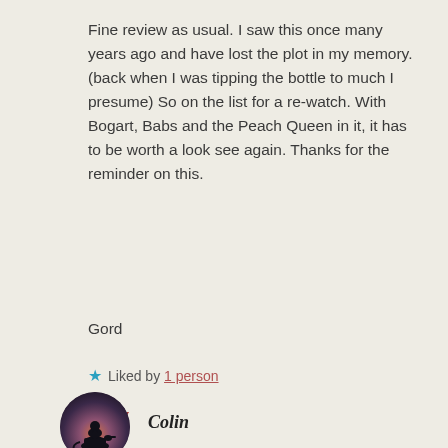Fine review as usual. I saw this once many years ago and have lost the plot in my memory. (back when I was tipping the bottle to much I presume) So on the list for a re-watch. With Bogart, Babs and the Peach Queen in it, it has to be worth a look see again. Thanks for the reminder on this.
Gord
★ Liked by 1 person
REPLY
[Figure (photo): Circular avatar image showing a silhouette of a person on horseback against a colorful twilight sky]
Colin